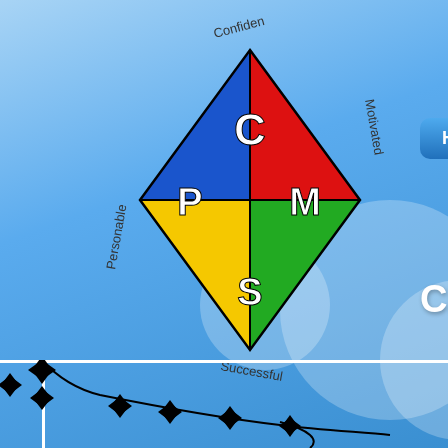[Figure (logo): Chew Magna Primary School kite logo with coloured triangles (red, green, blue, yellow) and letters C, M, P, S. Words around the kite: Confident, Motivated, Personable, Successful.]
[Figure (illustration): Decorative kite tail with bow-tie shaped decorations and a curling string, rendered in black on a blue sky background with soft white cloud circles.]
Home
Our School
Classes
Chew Magna Pr